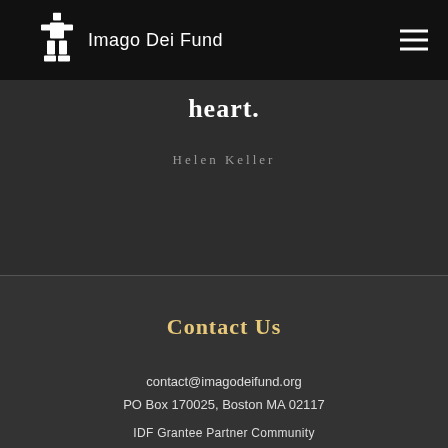Imago Dei Fund
heart.
Helen Keller
Contact Us
contact@imagodeifund.org
PO Box 170025, Boston MA 02117
IDF Grantee Partner Community